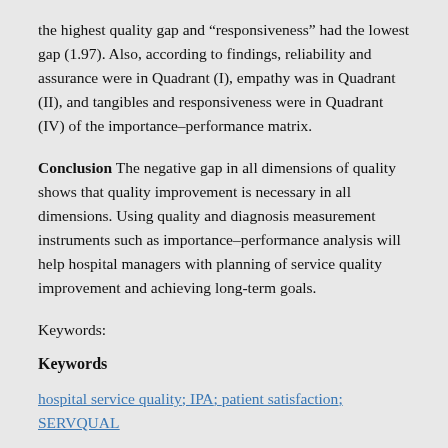the highest quality gap and “responsiveness” had the lowest gap (1.97). Also, according to findings, reliability and assurance were in Quadrant (I), empathy was in Quadrant (II), and tangibles and responsiveness were in Quadrant (IV) of the importance–performance matrix.
Conclusion The negative gap in all dimensions of quality shows that quality improvement is necessary in all dimensions. Using quality and diagnosis measurement instruments such as importance–performance analysis will help hospital managers with planning of service quality improvement and achieving long-term goals.
Keywords:
Keywords
hospital service quality; IPA; patient satisfaction; SERVQUAL